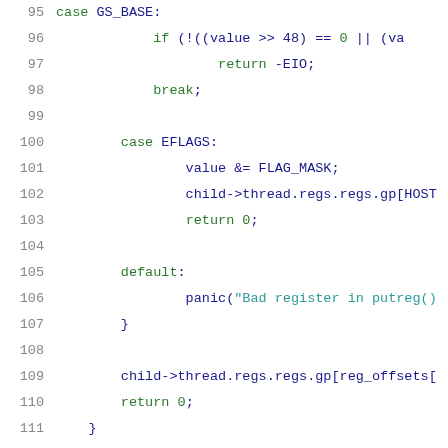[Figure (screenshot): Source code listing showing lines 95-116 of a C kernel file, with syntax highlighting. Keywords and control flow in green, string literals in teal/cyan, identifiers in dark blue, line numbers in gray.]